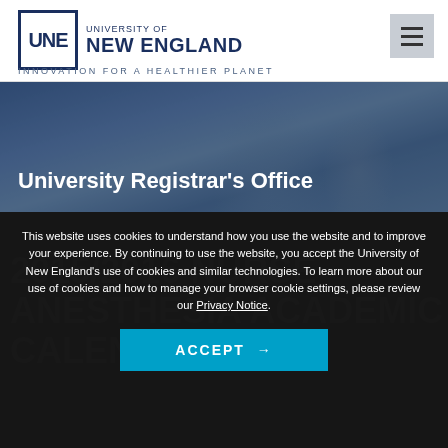UNE UNIVERSITY OF NEW ENGLAND — INNOVATION FOR A HEALTHIER PLANET
[Figure (photo): Hero banner photo of students in a blue-tinted overlay with the heading 'University Registrar's Office']
University Registrar's Office
2015/2016 NURSE ANESTHESIA ACADEMIC CALENDAR
This website uses cookies to understand how you use the website and to improve your experience. By continuing to use the website, you accept the University of New England's use of cookies and similar technologies. To learn more about our use of cookies and how to manage your browser cookie settings, please review our Privacy Notice.
ACCEPT →